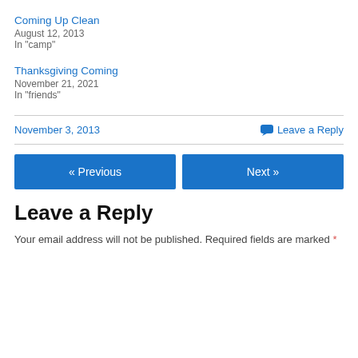Coming Up Clean
August 12, 2013
In "camp"
Thanksgiving Coming
November 21, 2021
In "friends"
November 3, 2013
💬 Leave a Reply
« Previous
Next »
Leave a Reply
Your email address will not be published. Required fields are marked *